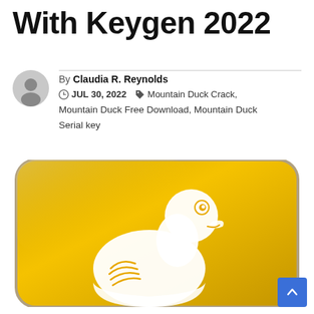With Keygen 2022
By Claudia R. Reynolds
JUL 30, 2022  Mountain Duck Crack, Mountain Duck Free Download, Mountain Duck Serial key
[Figure (illustration): Mountain Duck application icon — a golden/yellow rounded rectangle with a white duck outline illustration]